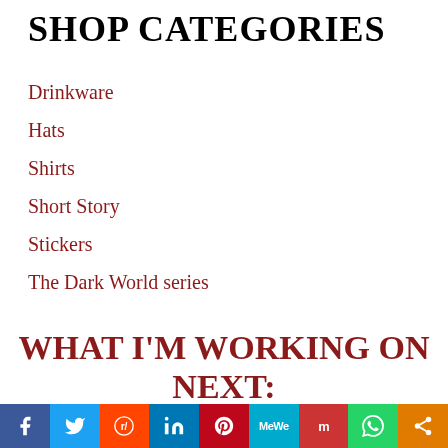SHOP CATEGORIES
Drinkware
Hats
Shirts
Short Story
Stickers
The Dark World series
WHAT I'M WORKING ON NEXT:
[Figure (photo): Partial view of a dramatic sky photo, warm golden and brown tones]
Social share bar: Facebook, Twitter, Reddit, LinkedIn, Pinterest, MeWe, Mix, WhatsApp, Share